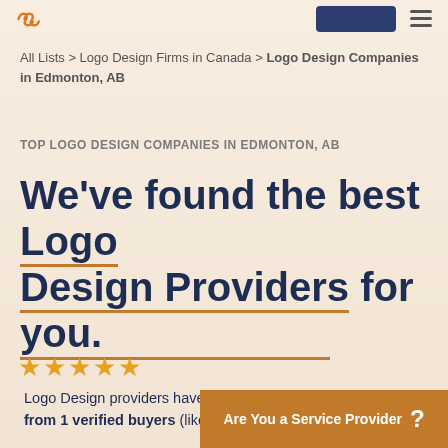[Clutch logo] [search button] [menu icon]
All Lists > Logo Design Firms in Canada > Logo Design Companies in Edmonton, AB
TOP LOGO DESIGN COMPANIES IN EDMONTON, AB
We've found the best Logo Design Providers for you.
Logo Design providers have a 5.0 avg. rating from 1 verified buyers (like you!)
Are You a Service Provider ?